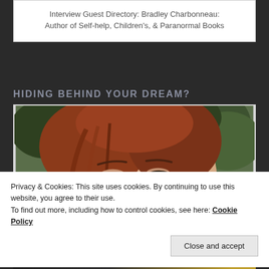Interview Guest Directory: Bradley Charbonneau: Author of Self-help, Children's, & Paranormal Books
HIDING BEHIND YOUR DREAM?
[Figure (photo): Close-up photo of a red-haired young woman looking upward, with green foliage in background]
Privacy & Cookies: This site uses cookies. By continuing to use this website, you agree to their use. To find out more, including how to control cookies, see here: Cookie Policy
Close and accept
[Figure (photo): Bottom strip showing partial text 'MAKE BELIEVE' with orange/gold accent]